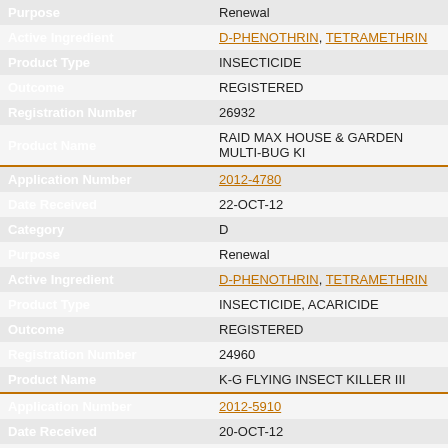| Field | Value |
| --- | --- |
| Purpose | Renewal |
| Active Ingredient | D-PHENOTHRIN, TETRAMETHRIN |
| Product Type | INSECTICIDE |
| Outcome | REGISTERED |
| Registration Number | 26932 |
| Product Name | RAID MAX HOUSE & GARDEN MULTI-BUG KI... |
| Application Number | 2012-4780 |
| Date Received | 22-OCT-12 |
| Category | D |
| Purpose | Renewal |
| Active Ingredient | D-PHENOTHRIN, TETRAMETHRIN |
| Product Type | INSECTICIDE, ACARICIDE |
| Outcome | REGISTERED |
| Registration Number | 24960 |
| Product Name | K-G FLYING INSECT KILLER III |
| Application Number | 2012-5910 |
| Date Received | 20-OCT-12 |
| Category | D |
| Purpose | Renewal |
| Active Ingredient | D-PHENOTHRIN, TETRAMETHRIN |
| Product Type | INSECTICIDE |
| Outcome | REGISTERED |